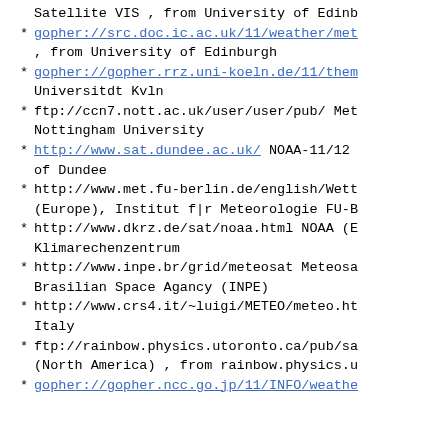Satellite VIS , from University of Edinburgh
gopher://src.doc.ic.ac.uk/11/weather/met , from University of Edinburgh
gopher://gopher.rrz.uni-koeln.de/11/them Universitdt Kvln
ftp://ccn7.nott.ac.uk/user/user/pub/ Met Nottingham University
http://www.sat.dundee.ac.uk/ NOAA-11/12 of Dundee
http://www.met.fu-berlin.de/english/Wett (Europe), Institut f|r Meteorologie FU-B
http://www.dkrz.de/sat/noaa.html NOAA (E Klimarechenzentrum
http://www.inpe.br/grid/meteosat Meteosa Brasilian Space Agancy (INPE)
http://www.crs4.it/~luigi/METEO/meteo.ht Italy
ftp://rainbow.physics.utoronto.ca/pub/sa (North America) , from rainbow.physics.u
gopher://gopher.ncc.go.jp/11/INFO/weathe